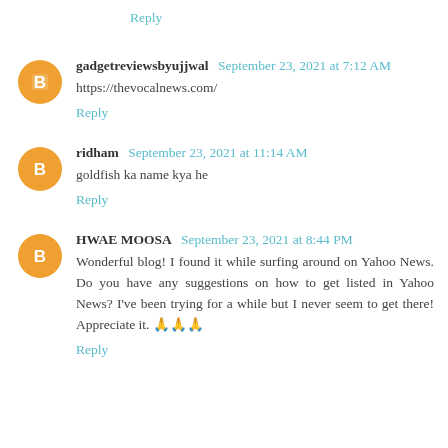Reply
gadgetreviewsbyujjwal  September 23, 2021 at 7:12 AM
https://thevocalnews.com/
Reply
ridham  September 23, 2021 at 11:14 AM
goldfish ka name kya he
Reply
HWAE MOOSA  September 23, 2021 at 8:44 PM
Wonderful blog! I found it while surfing around on Yahoo News. Do you have any suggestions on how to get listed in Yahoo News? I've been trying for a while but I never seem to get there! Appreciate it. 🙏🙏🙏
Reply